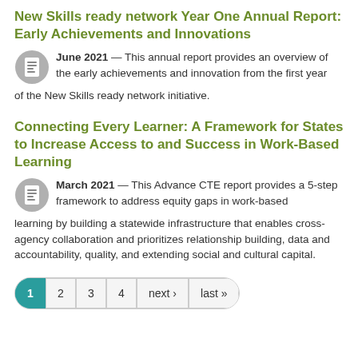New Skills ready network Year One Annual Report: Early Achievements and Innovations
June 2021 — This annual report provides an overview of the early achievements and innovation from the first year of the New Skills ready network initiative.
Connecting Every Learner: A Framework for States to Increase Access to and Success in Work-Based Learning
March 2021 — This Advance CTE report provides a 5-step framework to address equity gaps in work-based learning by building a statewide infrastructure that enables cross-agency collaboration and prioritizes relationship building, data and accountability, quality, and extending social and cultural capital.
1  2  3  4  next ›  last »